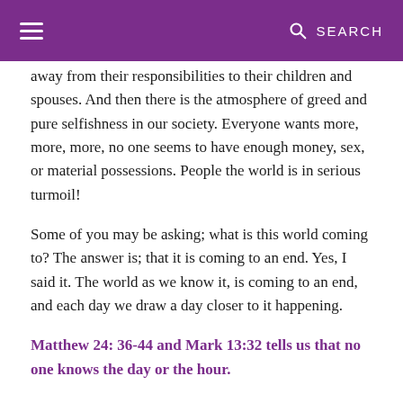≡  🔍 SEARCH
away from their responsibilities to their children and spouses.  And then there is the atmosphere of greed and pure selfishness in our society.  Everyone wants more, more, more, no one seems to have enough money, sex, or material possessions.  People the world is in serious turmoil!
Some of you may be asking; what is this world coming to?   The answer is; that it is coming to an end.  Yes, I said it.  The world as we know it, is coming to an end, and each day we draw a day closer to it happening.
Matthew 24: 36-44 and Mark 13:32 tells us that no one knows the day or the hour.